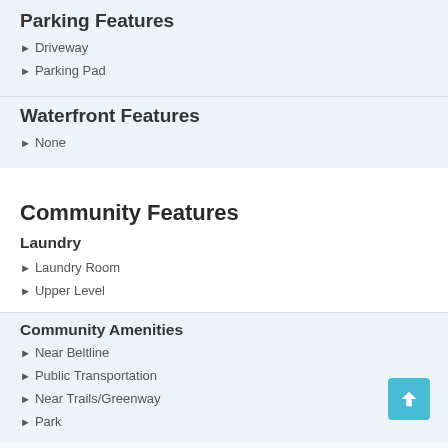Parking Features
Driveway
Parking Pad
Waterfront Features
None
Community Features
Laundry
Laundry Room
Upper Level
Community Amenities
Near Beltline
Public Transportation
Near Trails/Greenway
Park